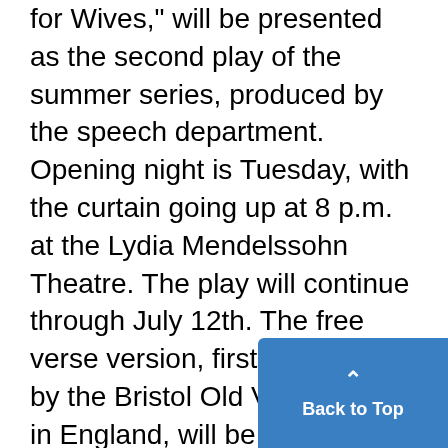for Wives," will be presented as the second play of the summer series, produced by the speech department. Opening night is Tuesday, with the curtain going up at 8 p.m. at the Lydia Mendelssohn Theatre. The play will continue through July 12th. The free verse version, first introduced by the Bristol Old Vic Company in England, will be used under the direction of Prof. William P. Halstead of the speech depa